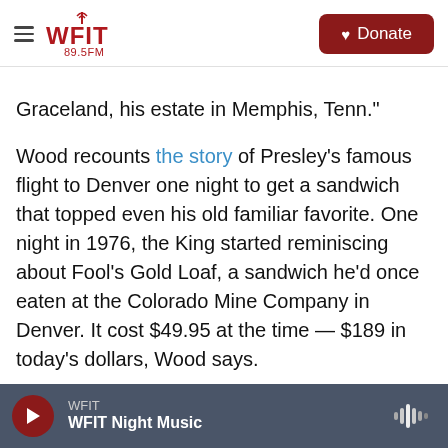WFIT 89.5FM | Donate
Graceland, his estate in Memphis, Tenn."
Wood recounts the story of Presley's famous flight to Denver one night to get a sandwich that topped even his old familiar favorite. One night in 1976, the King started reminiscing about Fool's Gold Loaf, a sandwich he'd once eaten at the Colorado Mine Company in Denver. It cost $49.95 at the time — $189 in today's dollars, Wood says.
Apparently, Presley's craving was so intense that he and his entourage jumped on his private plane and jetted off for the two-hour ride to Denver — a
WFIT | WFIT Night Music